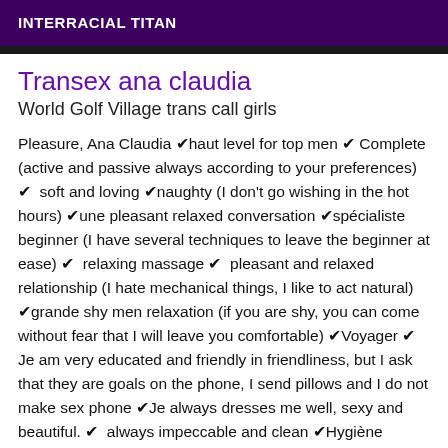INTERRACIAL TITAN
Transex ana claudia
World Golf Village trans call girls
Pleasure, Ana Claudia ✔haut level for top men ✔ Complete (active and passive always according to your preferences) ✔  soft and loving ✔naughty (I don't go wishing in the hot hours) ✔une pleasant relaxed conversation ✔spécialiste beginner (I have several techniques to leave the beginner at ease) ✔  relaxing massage ✔  pleasant and relaxed relationship (I hate mechanical things, I like to act natural) ✔grande shy men relaxation (if you are shy, you can come without fear that I will leave you comfortable) ✔Voyager ✔ Je am very educated and friendly in friendliness, but I ask that they are goals on the phone, I send pillows and I do not make sex phone ✔Je always dresses me well, sexy and beautiful. ✔  always impeccable and clean ✔Hygiène